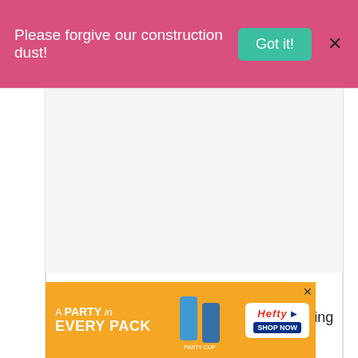Please forgive our construction dust!
[Figure (other): Blank white/light gray placeholder image area within bordered content column]
Instructions
1. Arrange the potato slices in a 9x13 baking dish.
2. [partially visible] ...the
[Figure (other): Hefty brand advertisement banner: orange background with 'A PARTY in EVERY PACK' text, cup images, Hefty logo, Shop Now button]